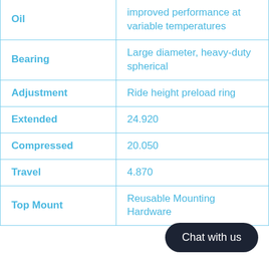| Oil | improved performance at variable temperatures |
| Bearing | Large diameter, heavy-duty spherical |
| Adjustment | Ride height preload ring |
| Extended | 24.920 |
| Compressed | 20.050 |
| Travel | 4.870 |
| Top Mount | Reusable Mounting Hardware |